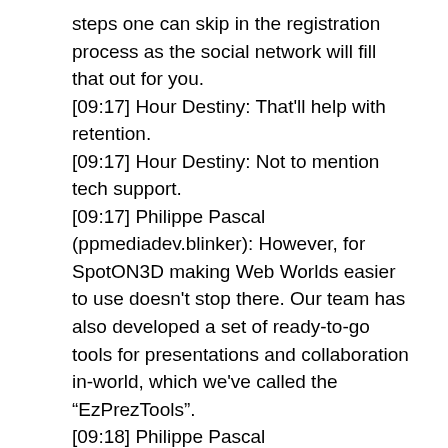steps one can skip in the registration process as the social network will fill that out for you.
[09:17] Hour Destiny: That'll help with retention.
[09:17] Hour Destiny: Not to mention tech support.
[09:17] Philippe Pascal (ppmediadev.blinker): However, for SpotON3D making Web Worlds easier to use doesn't stop there. Our team has also developed a set of ready-to-go tools for presentations and collaboration in-world, which we've called the "EzPrezTools".
[09:18] Philippe Pascal (ppmediadev.blinker): This kit contains presentation boards, display boards and a black board, supporting all of the most popular file formats, from Word files to images to powerpoint presentations; these all can be uploaded with the same ease you'd upload them to facebook through our build-in web window. There's no need to export them into a graphical format before uploading, and they're useable within a matter of minutes within our Web Worlds.